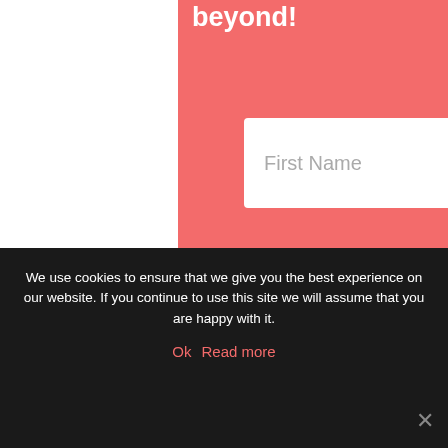beyond!
[Figure (screenshot): White input field with placeholder text 'First Name']
[Figure (screenshot): White input field with placeholder text 'Email']
We use cookies to ensure that we give you the best experience on our website. If you continue to use this site we will assume that you are happy with it.
Ok   Read more